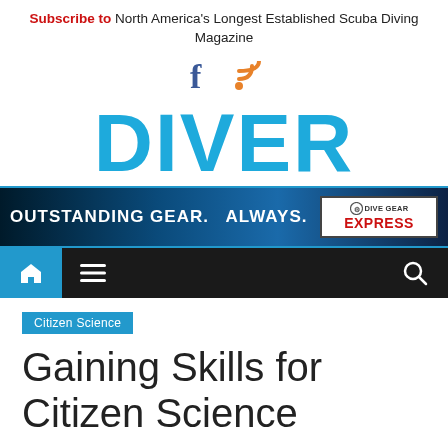Subscribe to North America's Longest Established Scuba Diving Magazine
[Figure (logo): Facebook and RSS social media icons]
[Figure (logo): DIVER magazine logo in large bold blue text]
[Figure (infographic): Advertisement banner: OUTSTANDING GEAR. ALWAYS. Dive Gear Express]
[Figure (infographic): Navigation bar with home icon, menu icon, and search icon]
Citizen Science
Gaining Skills for Citizen Science